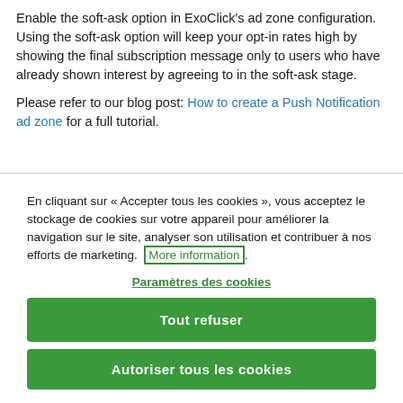Enable the soft-ask option in ExoClick's ad zone configuration. Using the soft-ask option will keep your opt-in rates high by showing the final subscription message only to users who have already shown interest by agreeing to in the soft-ask stage.
Please refer to our blog post: How to create a Push Notification ad zone for a full tutorial.
En cliquant sur « Accepter tous les cookies », vous acceptez le stockage de cookies sur votre appareil pour améliorer la navigation sur le site, analyser son utilisation et contribuer à nos efforts de marketing.  More information.
Paramètres des cookies
Tout refuser
Autoriser tous les cookies